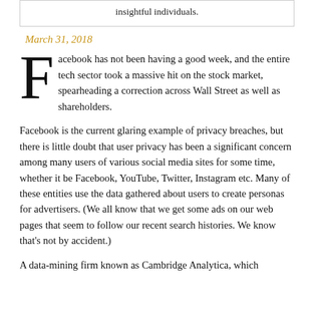insightful individuals.
March 31, 2018
Facebook has not been having a good week, and the entire tech sector took a massive hit on the stock market, spearheading a correction across Wall Street as well as shareholders.
Facebook is the current glaring example of privacy breaches, but there is little doubt that user privacy has been a significant concern among many users of various social media sites for some time, whether it be Facebook, YouTube, Twitter, Instagram etc. Many of these entities use the data gathered about users to create personas for advertisers. (We all know that we get some ads on our web pages that seem to follow our recent search histories. We know that's not by accident.)
A data-mining firm known as Cambridge Analytica, which